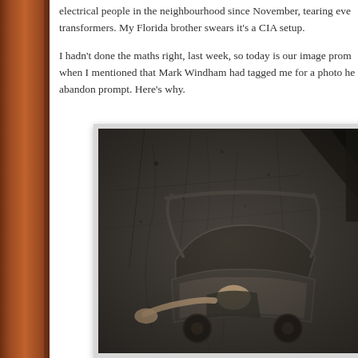electrical people in the neighbourhood since November, tearing eve transformers. My Florida brother swears it's a CIA setup.
I hadn't done the maths right, last week, so today is our image prom when I mentioned that Mark Windham had tagged me for a photo he abandon prompt. Here's why.
[Figure (photo): A dark, gritty photo of an abandoned baby pram or stroller with a doll or figure inside, set against a weathered concrete wall with scratch marks and grime. The scene appears to be in a derelict, abandoned building.]